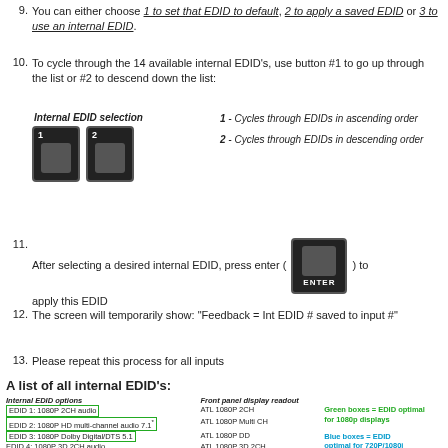9. You can either choose 1 to set that EDID to default, 2 to apply a saved EDID or 3 to use an internal EDID.
10. To cycle through the 14 available internal EDID's, use button #1 to go up through the list or #2 to descend down the list:
[Figure (illustration): Internal EDID selection diagram showing two numbered buttons (1 and 2) with labels: 1 - Cycles through EDIDs in ascending order; 2 - Cycles through EDIDs in descending order]
11. After selecting a desired internal EDID, press enter (ENTER button image) to apply this EDID
12. The screen will temporarily show: “Feedback = Int EDID # saved to input #”
13. Please repeat this process for all inputs
A list of all internal EDID's:
[Figure (table-as-image): Table showing Internal EDID options, Front panel display readout, and color-coded boxes. Green boxes = EDID optimal for 1080p displays; Blue boxes = EDID optimal for 720P/1080i displays; Red boxes = EDID... Rows: EDID 1: 1080P 2CH audio / ATL 1080P 2CH; EDID 2: 1080P HD multi-channel audio 7.1* / ATL 1080P Multi CH; EDID 3: 1080P Dolby Digital/DTS 5.1 / ATL 1080P DD; EDID 4: 1080P 3D 2CH audio / ATL 1080P 3D 2CH; EDID 5: 1080P 3D HD multi-channel audio 7.1* / ATL 1080P 3D MultiCH; EDID 6: 1080P 3D Dolby Digital/DTS 5.1 / ATL 1080P 3D DD]